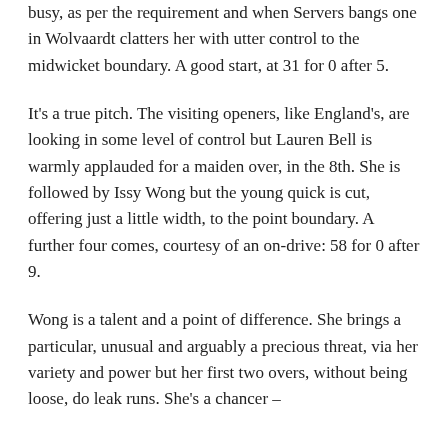busy, as per the requirement and when Servers bangs one in Wolvaardt clatters her with utter control to the midwicket boundary. A good start, at 31 for 0 after 5.
It's a true pitch. The visiting openers, like England's, are looking in some level of control but Lauren Bell is warmly applauded for a maiden over, in the 8th. She is followed by Issy Wong but the young quick is cut, offering just a little width, to the point boundary. A further four comes, courtesy of an on-drive: 58 for 0 after 9.
Wong is a talent and a point of difference. She brings a particular, unusual and arguably a precious threat, via her variety and power but her first two overs, without being loose, do leak runs. She's a chancer –